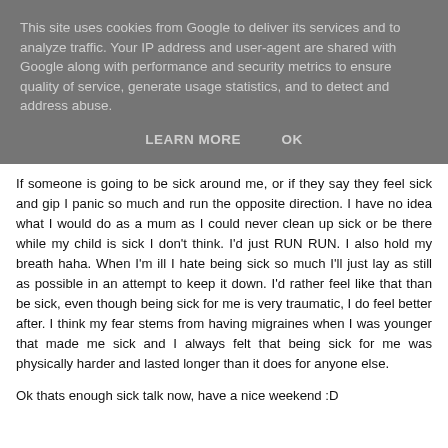This site uses cookies from Google to deliver its services and to analyze traffic. Your IP address and user-agent are shared with Google along with performance and security metrics to ensure quality of service, generate usage statistics, and to detect and address abuse.
LEARN MORE    OK
If someone is going to be sick around me, or if they say they feel sick and gip I panic so much and run the opposite direction. I have no idea what I would do as a mum as I could never clean up sick or be there while my child is sick I don't think. I'd just RUN RUN. I also hold my breath haha. When I'm ill I hate being sick so much I'll just lay as still as possible in an attempt to keep it down. I'd rather feel like that than be sick, even though being sick for me is very traumatic, I do feel better after. I think my fear stems from having migraines when I was younger that made me sick and I always felt that being sick for me was physically harder and lasted longer than it does for anyone else.
Ok thats enough sick talk now, have a nice weekend :D